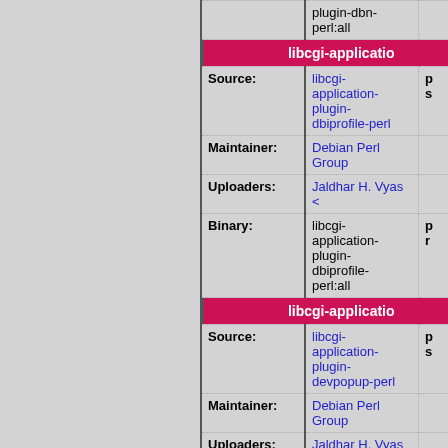| Field | Value | Extra |
| --- | --- | --- |
|  | plugin-dbn-perl:all |  |
| libcgi-applicatio (header) |  |  |
| Source: | libcgi-application-plugin-dbiprofile-perl | p s |
| Maintainer: | Debian Perl Group |  |
| Uploaders: | Jaldhar H. Vyas < |  |
| Binary: | libcgi-application-plugin-dbiprofile-perl:all | p r |
| libcgi-applicatio (header) |  |  |
| Source: | libcgi-application-plugin-devpopup-perl | p s |
| Maintainer: | Debian Perl Group |  |
| Uploaders: | Jaldhar H. Vyas < |  |
| Binary: | libcgi- |  |